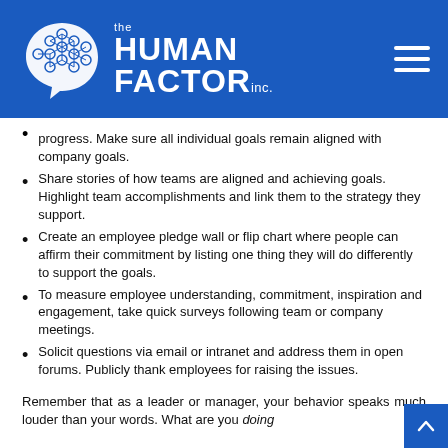[Figure (logo): The Human Factor Inc. logo — white brain/speech bubble icon with hexagonal network pattern, white text on blue background, with hamburger menu icon on right]
progress. Make sure all individual goals remain aligned with company goals.
Share stories of how teams are aligned and achieving goals. Highlight team accomplishments and link them to the strategy they support.
Create an employee pledge wall or flip chart where people can affirm their commitment by listing one thing they will do differently to support the goals.
To measure employee understanding, commitment, inspiration and engagement, take quick surveys following team or company meetings.
Solicit questions via email or intranet and address them in open forums. Publicly thank employees for raising the issues.
Remember that as a leader or manager, your behavior speaks much louder than your words. What are you doing